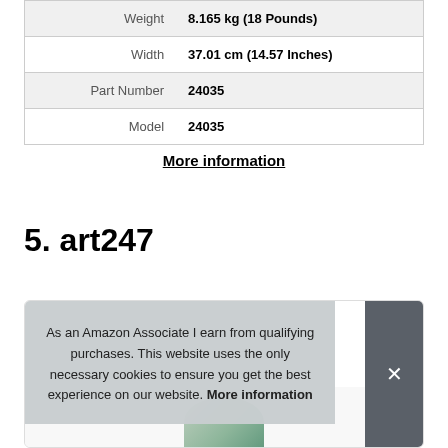| Property | Value |
| --- | --- |
| Weight | 8.165 kg (18 Pounds) |
| Width | 37.01 cm (14.57 Inches) |
| Part Number | 24035 |
| Model | 24035 |
More information
5. art247
As an Amazon Associate I earn from qualifying purchases. This website uses the only necessary cookies to ensure you get the best experience on our website. More information